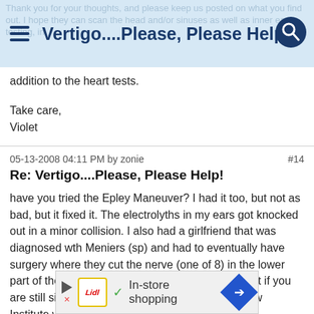Vertigo....Please, Please Help!
addition to the heart tests.
Take care,
Violet
05-13-2008 04:11 PM by zonie	#14
Re: Vertigo....Please, Please Help!
have you tried the Epley Maneuver? I had it too, but not as bad, but it fixed it. The electrolyths in my ears got knocked out in a minor collision. I also had a girlfriend that was diagnosed wth Meniers (sp) and had to eventually have surgery where they cut the nerve (one of 8) in the lower part of the brain. It was an instant cure. Look into it if you are still sick... there IS an answer. Phoenix, Barrow Institute was
[Figure (other): Advertisement banner for Lidl in-store shopping]